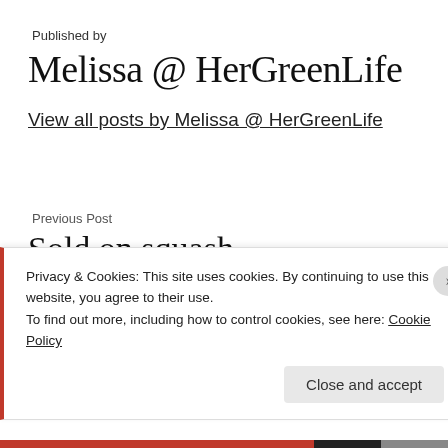Published by
Melissa @ HerGreenLife
View all posts by Melissa @ HerGreenLife
Previous Post
Sold on squash
Privacy & Cookies: This site uses cookies. By continuing to use this website, you agree to their use.
To find out more, including how to control cookies, see here: Cookie Policy
Close and accept